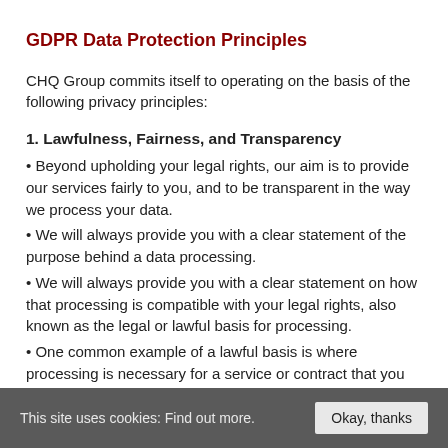GDPR Data Protection Principles
CHQ Group commits itself to operating on the basis of the following privacy principles:
1. Lawfulness, Fairness, and Transparency
• Beyond upholding your legal rights, our aim is to provide our services fairly to you, and to be transparent in the way we process your data.
• We will always provide you with a clear statement of the purpose behind a data processing.
• We will always provide you with a clear statement on how that processing is compatible with your legal rights, also known as the legal or lawful basis for processing.
• One common example of a lawful basis is where processing is necessary for a service or contract that you have requested. Another common basis is where we have a legal obligation to process your data, such as to protect against fraud. Your consent
This site uses cookies: Find out more.  Okay, thanks